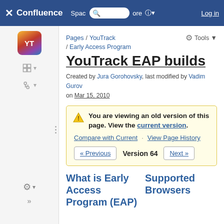Confluence — Spaces · More · Log in
Pages / YouTrack / Early Access Program
YouTrack EAP builds
Created by Jura Gorohovsky, last modified by Vadim Gurov on Mar 15, 2010
You are viewing an old version of this page. View the current version. Compare with Current · View Page History « Previous Version 64 Next »
What is Early Access Program (EAP)
Supported Browsers